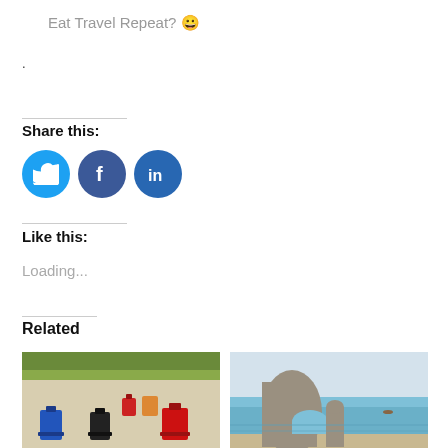Eat Travel Repeat? 😀
.
Share this:
[Figure (infographic): Three social media share buttons: Twitter (blue bird), Facebook (dark blue f), LinkedIn (blue in)]
Like this:
Loading...
Related
[Figure (photo): Beach scene with several suitcases/luggage on sand, including blue, black and red cases, with green vegetation in background]
[Figure (photo): Durdle Door natural limestone arch on the Jurassic Coast, Dorset, UK, with turquoise sea and beach]